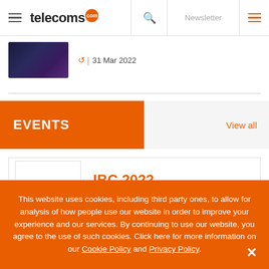telecoms.com | Newsletter
[Figure (screenshot): Thumbnail image with dark purple/blue gradient background]
31 Mar 2022
EVENTS
View all
IBC 2022
This website uses cookies, including third party ones, to allow for analysis of how people use our website in order to improve your experience and our services. By continuing to use our website, you agree to the use of such cookies. Click here for more information on our Cookie Policy and Privacy Policy.